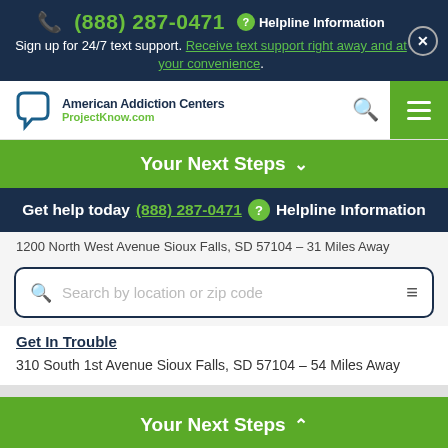(888) 287-0471  Helpline Information
Sign up for 24/7 text support. Receive text support right away and at your convenience.
[Figure (logo): American Addiction Centers / ProjectKnow.com logo with speech bubble icon]
Your Next Steps ∨
Get help today (888) 287-0471  Helpline Information
1200 North West Avenue Sioux Falls, SD 57104 - 31 Miles Away
Search by location or zip code
310 South 1st Avenue Sioux Falls, SD 57104 - 54 Miles Away
Your Next Steps ∧